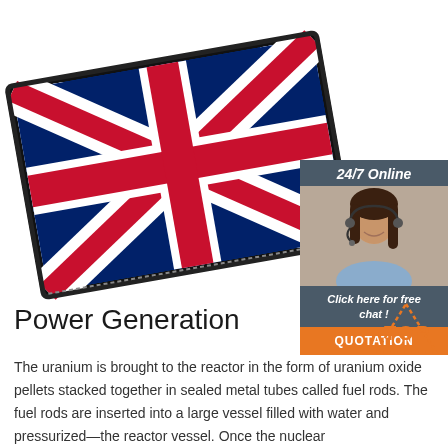[Figure (photo): A Union Jack (UK flag) embroidered patch photographed at an angle against a white background]
[Figure (infographic): 24/7 Online customer service chat box with a woman wearing a headset, 'Click here for free chat!' text, and an orange QUOTATION button]
[Figure (other): Orange and white TOP navigation icon with dotted triangle outline]
Power Generation
The uranium is brought to the reactor in the form of uranium oxide pellets stacked together in sealed metal tubes called fuel rods. The fuel rods are inserted into a large vessel filled with water and pressurized—the reactor vessel. Once the nuclear